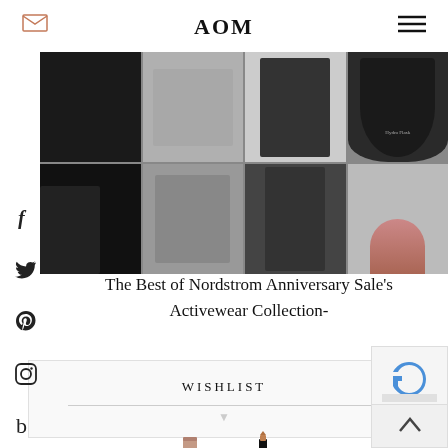AOM
[Figure (photo): Grid of activewear products: black long-sleeve top, gray zip-up, black sports bra/top, black water bottle (Hydro Flask), black jogger pants, gray athletic shorts, black leggings, hand holding a product]
The Best of Nordstrom Anniversary Sale's Activewear Collection-
WISHLIST
[Figure (photo): Two lipstick/makeup products shown at bottom of wishlist section]